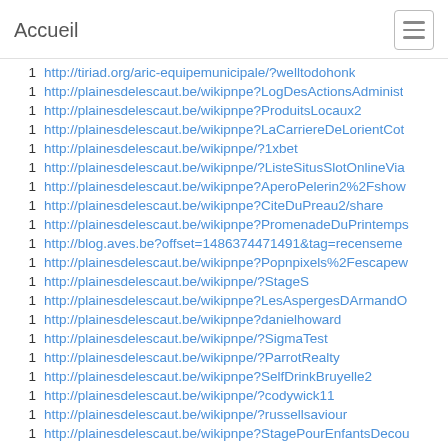Accueil
1  http://tiriad.org/aric-equipemunicipale/?welltodohonk
1  http://plainesdelescaut.be/wikipnpe?LogDesActionsAdminist
1  http://plainesdelescaut.be/wikipnpe?ProduitsLocaux2
1  http://plainesdelescaut.be/wikipnpe?LaCarriereDeLorientCot
1  http://plainesdelescaut.be/wikipnpe/?1xbet
1  http://plainesdelescaut.be/wikipnpe/?ListeSitusSlotOnlineVia
1  http://plainesdelescaut.be/wikipnpe?AperoPelerin2%2Fshow
1  http://plainesdelescaut.be/wikipnpe?CiteDuPreau2/share
1  http://plainesdelescaut.be/wikipnpe?PromenadeDuPrintemps
1  http://blog.aves.be?offset=1486374471491&tag=recenseme
1  http://plainesdelescaut.be/wikipnpe?Popnpixels%2Fescapew
1  http://plainesdelescaut.be/wikipnpe/?StageS
1  http://plainesdelescaut.be/wikipnpe?LesAspergesDArmandO
1  http://plainesdelescaut.be/wikipnpe?danielhoward
1  http://plainesdelescaut.be/wikipnpe/?SigmaTest
1  http://plainesdelescaut.be/wikipnpe/?ParrotRealty
1  http://plainesdelescaut.be/wikipnpe?SelfDrinkBruyelle2
1  http://plainesdelescaut.be/wikipnpe/?codywick11
1  http://plainesdelescaut.be/wikipnpe/?russellsaviour
1  http://plainesdelescaut.be/wikipnpe?StagePourEnfantsDecou